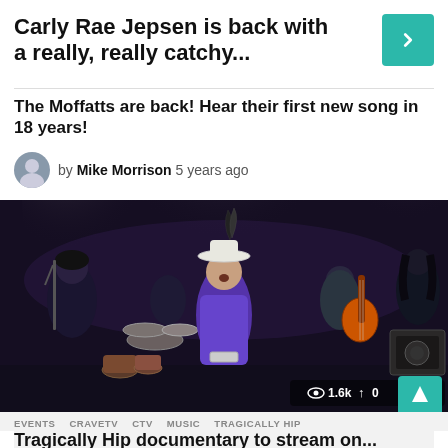Carly Rae Jepsen is back with a really, really catchy...
The Moffatts are back! Hear their first new song in 18 years!
by Mike Morrison 5 years ago
[Figure (photo): Band performing on stage; lead singer in purple suit and white feathered hat, with guitarist, drummer, and other band members visible in dark stage lighting. Stats overlay: 1.6k views, 0 shares.]
EVENTS  CRAVETV  CTV  MUSIC  TRAGICALLY HIP
Tragically Hip documentary to stream on...